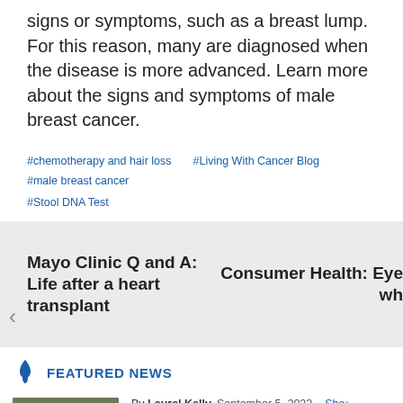signs or symptoms, such as a breast lump. For this reason, many are diagnosed when the disease is more advanced. Learn more about the signs and symptoms of male breast cancer.
#chemotherapy and hair loss
#Living With Cancer Blog
#male breast cancer
#Stool DNA Test
Mayo Clinic Q and A: Life after a heart transplant
Consumer Health: Eye wh
FEATURED NEWS
By Laurel Kelly   September 5, 2022   Shar
Consumer Health: Treating gynecologi cancer